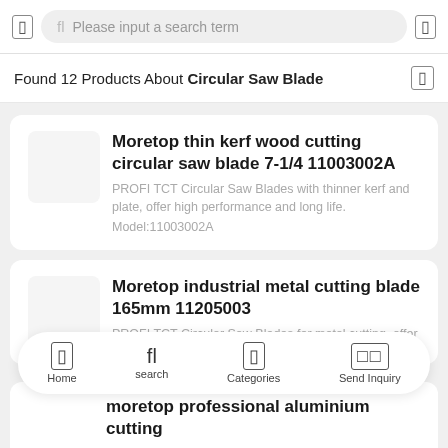Please input a search term
Found 12 Products About Circular Saw Blade
Moretop thin kerf wood cutting circular saw blade 7-1/4 11003002A
PROFI TCT Circular Saw Blades with thinner kerf and plate, offer high performance and long life.
Model:11003002A
Moretop industrial metal cutting blade 165mm 11205003
PROFI TCT Circular Saw Blades for metal cutting, offer
Home  search  Categories  Send Inquiry
moretop professional aluminium cutting